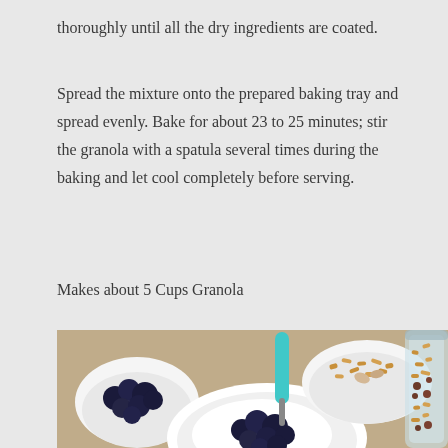thoroughly until all the dry ingredients are coated.
Spread the mixture onto the prepared baking tray and spread evenly. Bake for about 23 to 25 minutes; stir the granola with a spatula several times during the baking and let cool completely before serving.
Makes about 5 Cups Granola
[Figure (photo): Photo of granola and blueberries: white bowls containing blueberries and yogurt with a teal spoon, a bowl of granola with nuts, and a glass jar filled with granola and dried fruit, on a wooden surface.]